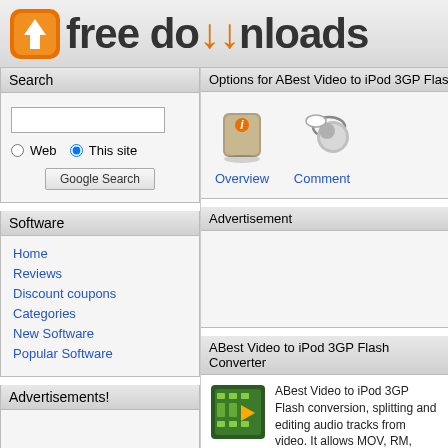[Figure (logo): Free Downloads website logo with orange download icon and text 'free downloads']
Search
[Figure (screenshot): Search form with text input, Web/This site radio buttons, and Google Search button]
Software
Home
Reviews
Discount coupons
Categories
New Software
Popular Software
Advertisements!
Options for ABest Video to iPod 3GP Flash
[Figure (illustration): Overview icon and Comments icon with links]
Advertisement
ABest Video to iPod 3GP Flash Converter
ABest Video to iPod 3GP Flash conversion, splitting and editing audio tracks from video. It allows MOV, RM, RMVB, WMV, ASF, M can also convert the above video formats